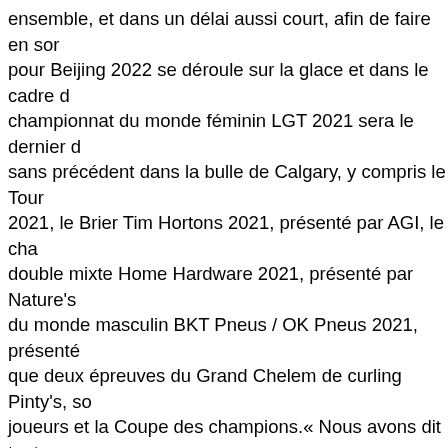ensemble, et dans un délai aussi court, afin de faire en sorte que Beijing 2022 se déroule sur la glace et dans le cadre du championnat du monde féminin LGT 2021 sera le dernier d'une série sans précédent dans la bulle de Calgary, y compris le Tournoi 2021, le Brier Tim Hortons 2021, présenté par AGI, le championnat double mixte Home Hardware 2021, présenté par Nature's Bounty, du monde masculin BKT Pneus / OK Pneus 2021, présenté, ainsi que deux épreuves du Grand Chelem de curling Pinty's, soit le joueurs et la Coupe des champions.« Nous avons dit toute la journée que les circonstances uniques présentent des possibilités uniques pour des personnes uniques, et nous sommes ravis de pouvoir jouer un rôle dans ce dernier championnat dans la bulle de Calgary », a déclaré Katherine Henderson, direction de Curling Canada. « Les protocoles qui ont été mis en place pour les premiers événements à Calgary se sont avérés efficaces pour la sécurité des athlètes, des officiels et de la ville hôte. Nous avons donc espoir que cela se poursuivra avec succès jusqu'à la fin du championnat du monde. Notre Conseil des gouverneurs a vraiment soutenu nos plans dès le départ lorsque nous avons commencé à discuter de la bulle, et lorsque cette option tardive s'est présentée, il nous a de nouveau soutenus. C'é